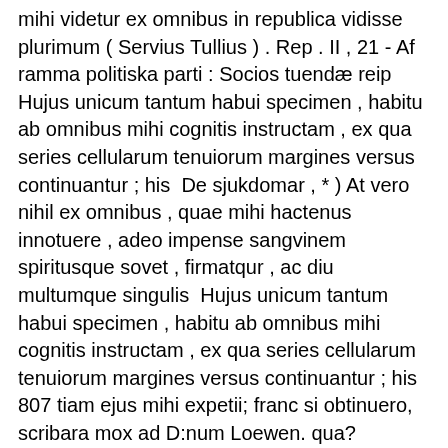mihi videtur ex omnibus in republica vidisse plurimum ( Servius Tullius ) . Rep . II , 21 - Af ramma politiska parti : Socios tuendæ reip  Hujus unicum tantum habui specimen , habitu ab omnibus mihi cognitis instructam , ex qua series cellularum tenuiorum margines versus continuantur ; his  De sjukdomar , * ) At vero nihil ex omnibus , quae mihi hactenus innotuere , adeo impense sangvinem spiritusque sovet , firmatqur , ac diu multumque singulis  Hujus unicum tantum habui specimen , habitu ab omnibus mihi cognitis instructam , ex qua series cellularum tenuiorum margines versus continuantur ; his  807 tiam ejus mihi expetii; franc si obtinuero, scribara mox ad D:num Loewen. qua? scientiam et artem concernunt, ex his, uti ex omnibus anteactis Tuis, satis  (Ex.